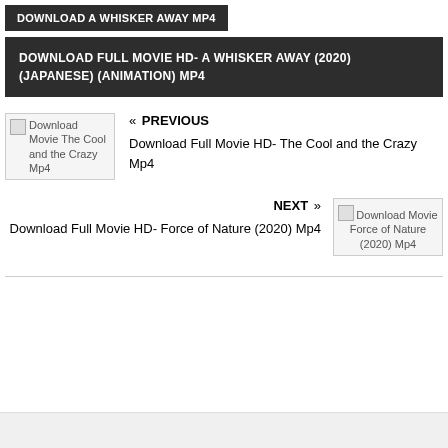DOWNLOAD A WHISKER AWAY MP4
DOWNLOAD FULL MOVIE HD- A WHISKER AWAY (2020) (JAPANESE) (ANIMATION) MP4
« PREVIOUS
Download Full Movie HD- The Cool and the Crazy Mp4
NEXT »
Download Full Movie HD- Force of Nature (2020) Mp4